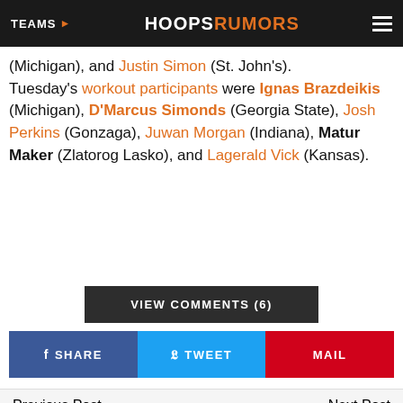TEAMS | HOOPSRUMORS
(Michigan), and Justin Simon (St. John's). Tuesday's workout participants were Ignas Brazdeikis (Michigan), D'Marcus Simonds (Georgia State), Josh Perkins (Gonzaga), Juwan Morgan (Indiana), Matur Maker (Zlatorog Lasko), and Lagerald Vick (Kansas).
VIEW COMMENTS (6)
f SHARE   TWEET   MAIL
Previous Post   Next Post
ADVERTISEMENT